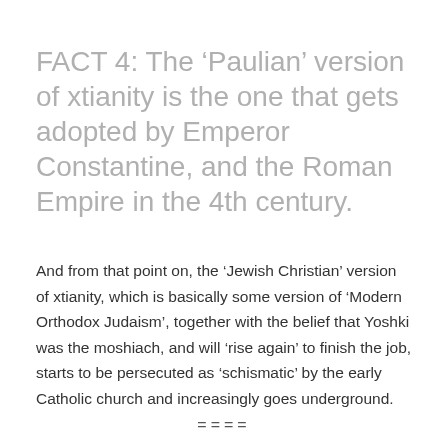FACT 4: The ‘Paulian’ version of xtianity is the one that gets adopted by Emperor Constantine, and the Roman Empire in the 4th century.
And from that point on, the ‘Jewish Christian’ version of xtianity, which is basically some version of ‘Modern Orthodox Judaism’, together with the belief that Yoshki was the moshiach, and will ‘rise again’ to finish the job, starts to be persecuted as ‘schismatic’ by the early Catholic church and increasingly goes underground.
====